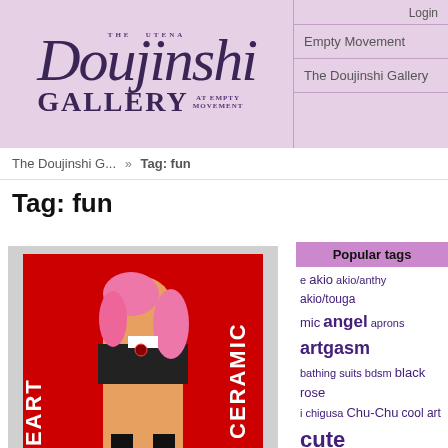The Doujinshi Gallery at Empty Movement — Login | Empty Movement | The Doujinshi Gallery
The Doujinshi G... » Tag: fun
Tag: fun
Popular tags
e akio akio/anthy akio/touga mic angel aprons artgasm bathing suits bdsm black rose i chigusa Chu-Chu cool art cute epicted sex Dwarf Sunflowers ensemble full color gigantic Hello World humor juri juri/shiori mikage/mamiya miki/kozue movie artists nanami pretty reimagined us romance rose revue onji sega saturn game shiori short ijo-ai shounen-ai silly softcore tship sweet text-heavy touga
[Figure (illustration): Anime illustration on red background showing pink-haired girl character, with text CERAMIC HEART]
Ceramic Heart
[Figure (illustration): Anime illustration showing blue and pink haired characters]